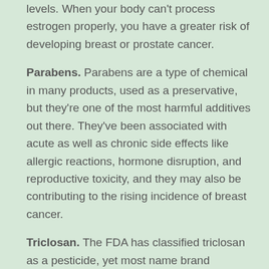levels. When your body can't process estrogen properly, you have a greater risk of developing breast or prostate cancer.
Parabens. Parabens are a type of chemical in many products, used as a preservative, but they're one of the most harmful additives out there. They've been associated with acute as well as chronic side effects like allergic reactions, hormone disruption, and reproductive toxicity, and they may also be contributing to the rising incidence of breast cancer.
Triclosan. The FDA has classified triclosan as a pesticide, yet most name brand deodorants contain it. It's used to kill bacteria in the manufacturing process, as well as when it comes into contact with your skin. Studies have found that triclosan alters hormone regulation and contributes to the global problem of